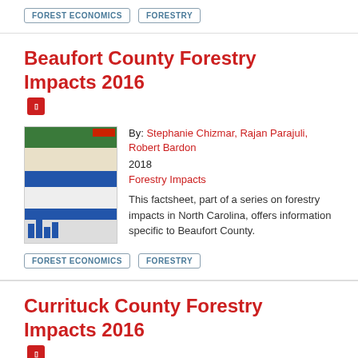FOREST ECONOMICS
FORESTRY
Beaufort County Forestry Impacts 2016
By: Stephanie Chizmar, Rajan Parajuli, Robert Bardon
2018
Forestry Impacts
This factsheet, part of a series on forestry impacts in North Carolina, offers information specific to Beaufort County.
FOREST ECONOMICS
FORESTRY
Currituck County Forestry Impacts 2016
By: Stephanie Chizmar, Rajan Parajuli, Robert Bardon